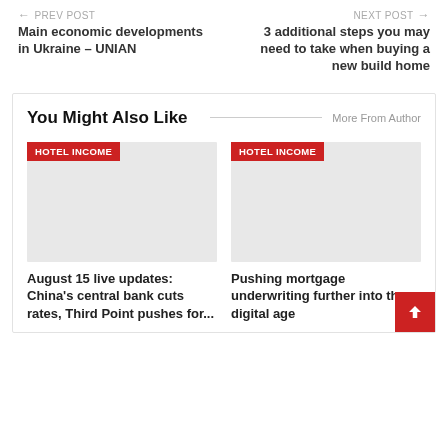← PREV POST
Main economic developments in Ukraine – UNIAN
NEXT POST →
3 additional steps you may need to take when buying a new build home
You Might Also Like
More From Author
[Figure (photo): Placeholder image with HOTEL INCOME tag]
[Figure (photo): Placeholder image with HOTEL INCOME tag]
August 15 live updates: China's central bank cuts rates, Third Point pushes for...
Pushing mortgage underwriting further into the digital age